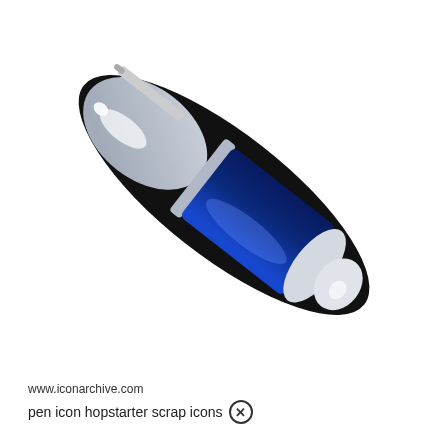[Figure (illustration): An illustration of a ballpoint pen oriented diagonally from lower-left to upper-right. The pen has a blue barrel/body in the center-lower portion and a silver/chrome cap and upper section. The pen is outlined with a thick black stroke, giving it a stylized icon appearance. The tip (nib) points toward the lower-left and the top cap points toward the upper-right.]
www.iconarchive.com
pen icon hopstarter scrap icons ×